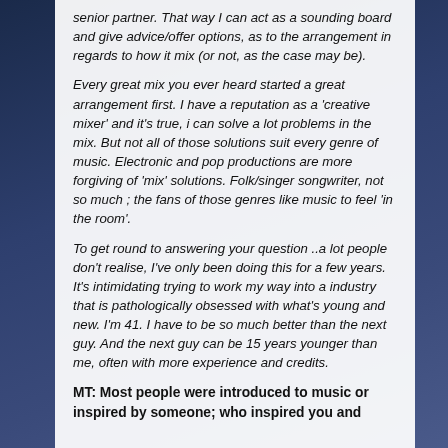senior partner. That way I can act as a sounding board and give advice/offer options, as to the arrangement in regards to how it mix (or not, as the case may be).
Every great mix you ever heard started a great arrangement first. I have a reputation as a 'creative mixer' and it's true, i can solve a lot problems in the mix. But not all of those solutions suit every genre of music. Electronic and pop productions are more forgiving of 'mix' solutions. Folk/singer songwriter, not so much ; the fans of those genres like music to feel 'in the room'.
To get round to answering your question ..a lot people don't realise, I've only been doing this for a few years. It's intimidating trying to work my way into a industry that is pathologically obsessed with what's young and new. I'm 41. I have to be so much better than the next guy. And the next guy can be 15 years younger than me, often with more experience and credits.
MT: Most people were introduced to music or inspired by someone; who inspired you and